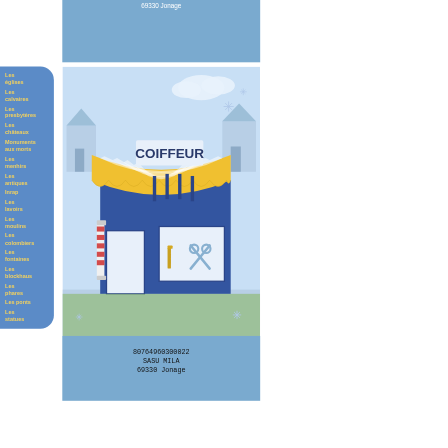[Figure (illustration): Partial blue banner showing '69330 Jonage' text at top]
Les églises
Les calvaires
Les presbytères
Les châteaux
Monuments aux morts
Les menhirs
Les antiques
Inrap
Les lavoirs
Les moulins
Les colombiers
Les fontaines
Les blockhaus
Les phares
Les ponts
Les statues
[Figure (illustration): Cartoon illustration of a coiffeur (hair salon) shop front with yellow and white striped awning, blue facade, scissors and comb in window, and winter/snowy background with houses]
80764960300022
SASU MILA
69330 Jonage